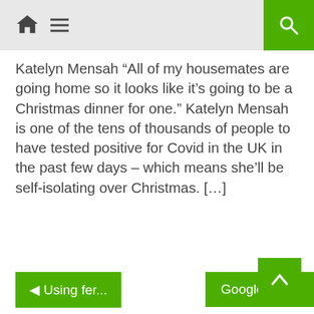Navigation bar with home icon, menu icon, and search button
Katelyn Mensah “All of my housemates are going home so it looks like it’s going to be a Christmas dinner for one.” Katelyn Mensah is one of the tens of thousands of people to have tested positive for Covid in the UK in the past few days – which means she’ll be self-isolating over Christmas. [...]
◄ Using fer...
Google Clo...